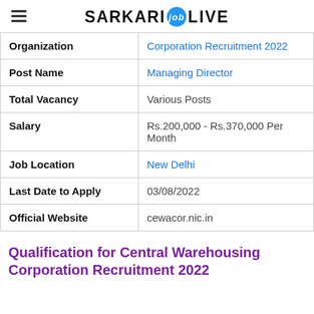SARKARI job LIVE
| Field | Value |
| --- | --- |
| Organization | Corporation Recruitment 2022 |
| Post Name | Managing Director |
| Total Vacancy | Various Posts |
| Salary | Rs.200,000 - Rs.370,000 Per Month |
| Job Location | New Delhi |
| Last Date to Apply | 03/08/2022 |
| Official Website | cewacor.nic.in |
Qualification for Central Warehousing Corporation Recruitment 2022